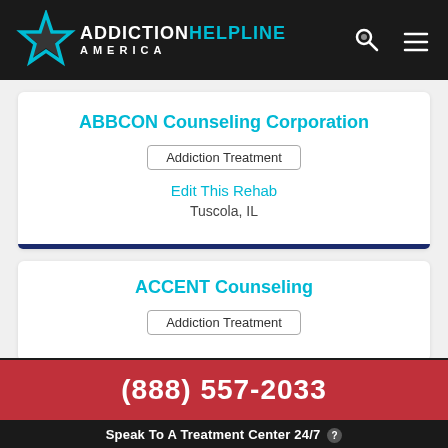ADDICTION HELPLINE AMERICA
ABBCON Counseling Corporation
Addiction Treatment
Edit This Rehab
Tuscola, IL
ACCENT Counseling
Addiction Treatment
(888) 557-2033 Speak To A Treatment Center 24/7